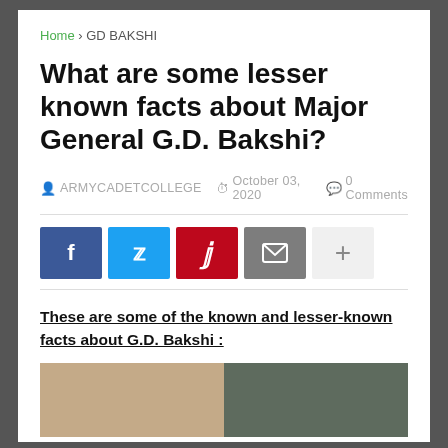Home > GD BAKSHI
What are some lesser known facts about Major General G.D. Bakshi?
ARMYCADETCOLLEGE   October 03, 2020   0 Comments
[Figure (infographic): Social sharing buttons: Facebook (blue), Twitter (light blue), Pinterest (red), Email (gray), Plus (light gray)]
These are some of the known and lesser-known facts about G.D. Bakshi :
[Figure (photo): Two side-by-side photos of G.D. Bakshi]